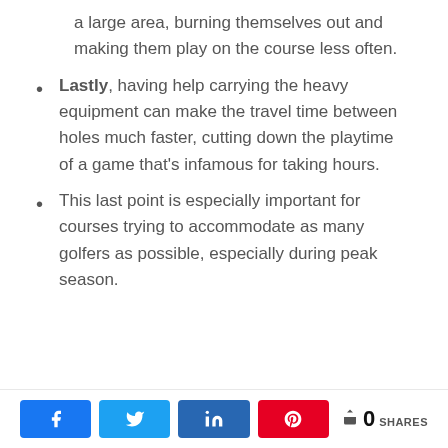a large area, burning themselves out and making them play on the course less often.
Lastly, having help carrying the heavy equipment can make the travel time between holes much faster, cutting down the playtime of a game that's infamous for taking hours.
This last point is especially important for courses trying to accommodate as many golfers as possible, especially during peak season.